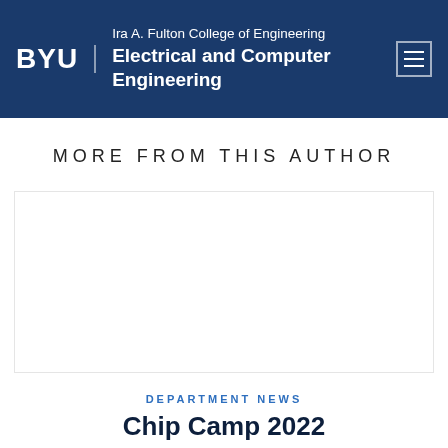BYU | Ira A. Fulton College of Engineering | Electrical and Computer Engineering
MORE FROM THIS AUTHOR
[Figure (other): Empty card/image placeholder area with border]
DEPARTMENT NEWS
Chip Camp 2022